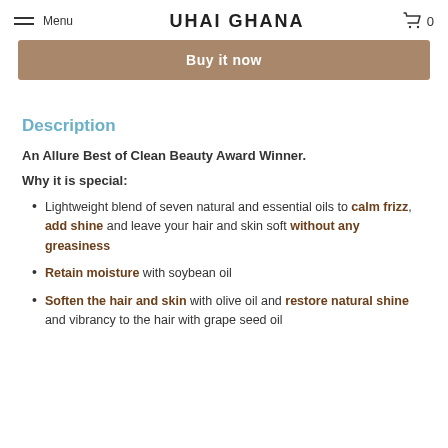Menu  UHAI GHANA  0
Buy it now
Description
An Allure Best of Clean Beauty Award Winner.
Why it is special:
Lightweight blend of seven natural and essential oils to calm frizz, add shine and leave your hair and skin soft without any greasiness
Retain moisture with soybean oil
Soften the hair and skin with olive oil and restore natural shine and vibrancy to the hair with grape seed oil